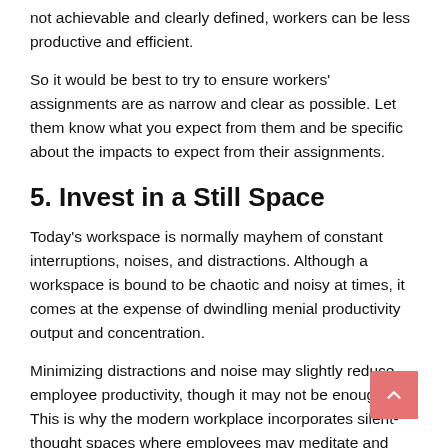not achievable and clearly defined, workers can be less productive and efficient.
So it would be best to try to ensure workers' assignments are as narrow and clear as possible. Let them know what you expect from them and be specific about the impacts to expect from their assignments.
5. Invest in a Still Space
Today's workspace is normally mayhem of constant interruptions, noises, and distractions. Although a workspace is bound to be chaotic and noisy at times, it comes at the expense of dwindling menial productivity output and concentration.
Minimizing distractions and noise may slightly reduce employee productivity, though it may not be enough. This is why the modern workplace incorporates silent-thought spaces where employees may meditate and have a session of uninterrupted work done.
6. Concentrate on Effective